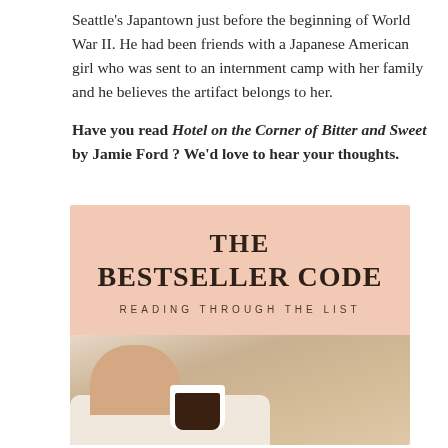Seattle's Japantown just before the beginning of World War II. He had been friends with a Japanese American girl who was sent to an internment camp with her family and he believes the artifact belongs to her.
Have you read Hotel on the Corner of Bitter and Sweet by Jamie Ford ? We'd love to hear your thoughts.
[Figure (illustration): Book blog logo/banner for 'The Bestseller Code: Reading Through the List'. Upper half has a salmon/peach background with bold serif text 'THE BESTSELLER CODE' and spaced subtitle 'READING THROUGH THE LIST'. Lower half shows a person sitting with a white coffee mug filled with dark coffee against a warm beige background.]